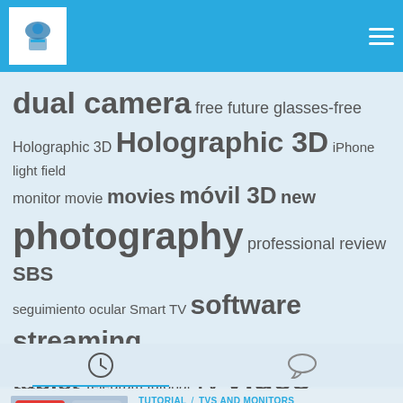Navigation header with logo and hamburger menu
dual camera free future glasses-free Holographic 3D Holographic 3D iPhone light field monitor movie movies móvil 3D new photography professional review SBS seguimiento ocular Smart TV software streaming tablet Telegram tutorial TV Video videogames Virtual Reality Volumetric VR
[Figure (other): Tab bar with clock icon (active) and speech bubble icon]
TUTORIAL / TVS AND MONITORS
How to watch 3D YouTube videos and how to properly upload them